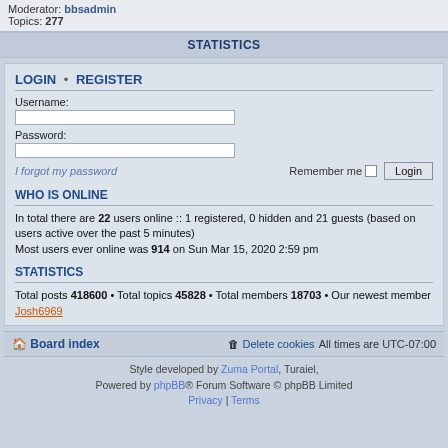Moderator: bbsadmin
Topics: 277
STATISTICS
LOGIN • REGISTER
Username:
Password:
I forgot my password    Remember me  [checkbox]  Login
WHO IS ONLINE
In total there are 22 users online :: 1 registered, 0 hidden and 21 guests (based on users active over the past 5 minutes)
Most users ever online was 914 on Sun Mar 15, 2020 2:59 pm
STATISTICS
Total posts 418600 • Total topics 45828 • Total members 18703 • Our newest member Josh6969
Board index    Delete cookies    All times are UTC-07:00
Style developed by Zuma Portal, Turaiel, Powered by phpBB® Forum Software © phpBB Limited Privacy | Terms